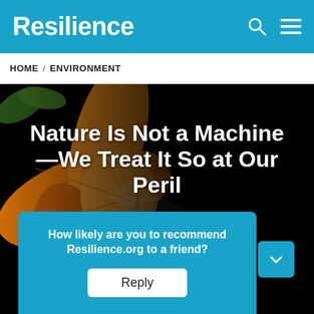Resilience
HOME / ENVIRONMENT
[Figure (photo): Close-up photo of an orange lily flower with a dragonfly, overlaid with dark gradient on the right side]
Nature Is Not a Machine —We Treat It So at Our Peril
By Jeremy Lent, originally published by Patterns of Meaning
How likely are you to recommend Resilience.org to a friend?
Reply